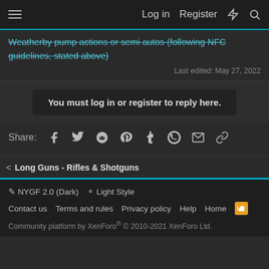Log in  Register
Weatherby pump actions or semi autos (following NFC guidelines, stated above)
Last edited: May 27, 2022
You must log in or register to reply here.
Share: [Facebook] [Twitter] [Reddit] [Pinterest] [Tumblr] [WhatsApp] [Email] [Link]
< Long Guns - Rifles & Shotguns
NYGF 2.0 (Dark)  Light Style
Contact us  Terms and rules  Privacy policy  Help  Home
Community platform by XenForo® © 2010-2021 XenForo Ltd.